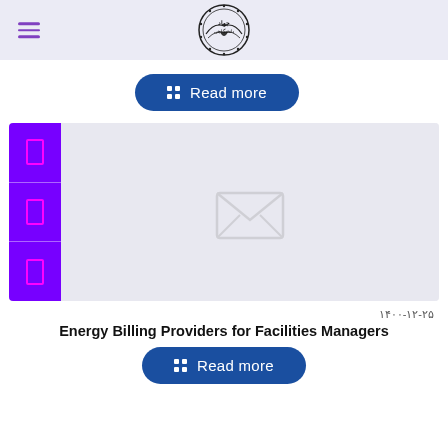Jihad Daneshgahi - Header with logo and hamburger menu
Read more
[Figure (screenshot): Content card with purple sidebar icons and envelope placeholder image]
۱۴۰۰-۱۲-۲۵
Energy Billing Providers for Facilities Managers
Read more